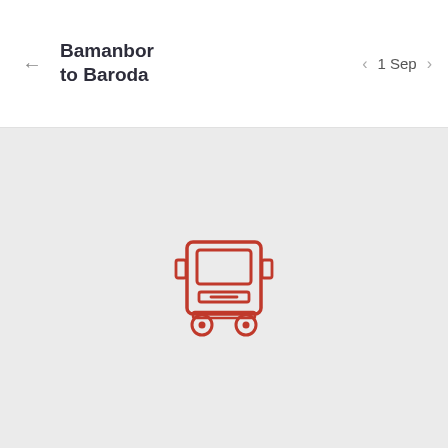Bamanbor to Baroda | 1 Sep
[Figure (illustration): Red line-art icon of a bus (front view) centered on a light gray background, indicating no bus results found.]